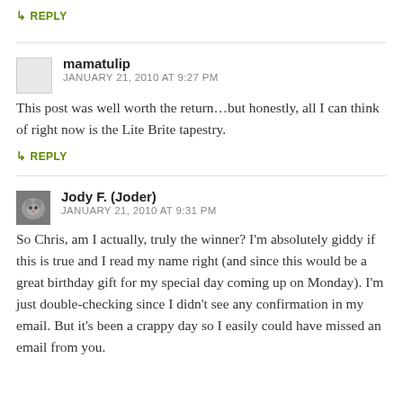↳ REPLY
mamatulip
JANUARY 21, 2010 AT 9:27 PM
This post was well worth the return…but honestly, all I can think of right now is the Lite Brite tapestry.
↳ REPLY
Jody F. (Joder)
JANUARY 21, 2010 AT 9:31 PM
So Chris, am I actually, truly the winner? I'm absolutely giddy if this is true and I read my name right (and since this would be a great birthday gift for my special day coming up on Monday). I'm just double-checking since I didn't see any confirmation in my email. But it's been a crappy day so I easily could have missed an email from you.